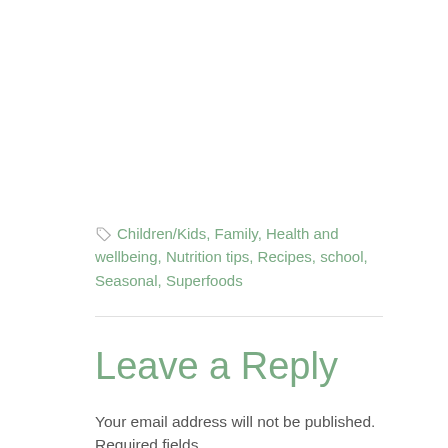Children/Kids, Family, Health and wellbeing, Nutrition tips, Recipes, school, Seasonal, Superfoods
Leave a Reply
Your email address will not be published. Required fields